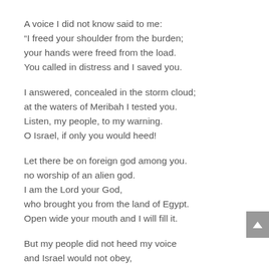A voice I did not know said to me:
“I freed your shoulder from the burden;
your hands were freed from the load.
You called in distress and I saved you.
I answered, concealed in the storm cloud;
at the waters of Meribah I tested you.
Listen, my people, to my warning.
O Israel, if only you would heed!
Let there be on foreign god among you.
no worship of an alien god.
I am the Lord your God,
who brought you from the land of Egypt.
Open wide your mouth and I will fill it.
But my people did not heed my voice
and Israel would not obey,
so I left them in their stubbornness of heart
to follow their own designs.